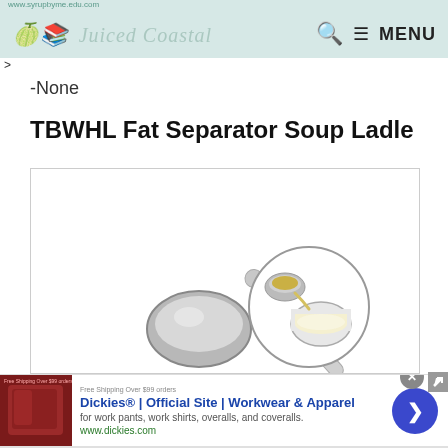www.syrupbyme.edu.com
[Figure (logo): Website logo — stylized cursive text in light teal/grey]
>
-None
TBWHL Fat Separator Soup Ladle
[Figure (photo): Product photo of a stainless steel fat separator soup ladle with a long handle. A circular inset shows a close-up of the ladle pouring liquid fat separated from broth into a small bowl.]
[Figure (infographic): Advertisement banner for Dickies workwear. Shows red/brown leather product image on left, text 'Dickies® | Official Site | Workwear & Apparel' in blue bold, subtitle 'for work pants, work shirts, overalls, and coveralls.' and 'www.dickies.com' in green. Blue circular arrow button on right. Close X button top right.]